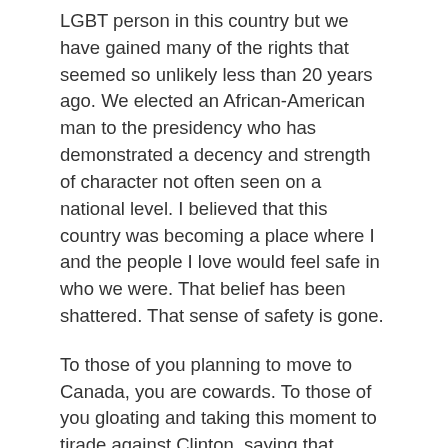LGBT person in this country but we have gained many of the rights that seemed so unlikely less than 20 years ago. We elected an African-American man to the presidency who has demonstrated a decency and strength of character not often seen on a national level. I believed that this country was becoming a place where I and the people I love would feel safe in who we were. That belief has been shattered. That sense of safety is gone.
To those of you planning to move to Canada, you are cowards. To those of you gloating and taking this moment to tirade against Clinton, saying that Sanders would have succeeded, your privilege is keeping you from seeing what truly happened here. Hatred of women and minorities brought that man the election. Hate of that magnitude would not have been tempered by someone less qualified for the office. Had Sanders succeeded, it would only reinforce and further verify that hatred. This was not simply an election, it was and is an unabashed assault on everything that we hold dear, our values, our dignity and the safety of ourselves and those we love. But though we thought November 8th would be the end of a year of hatred and